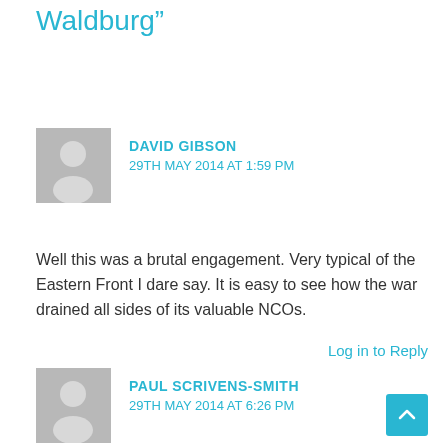Waldburg”
DAVID GIBSON
29TH MAY 2014 AT 1:59 PM
Well this was a brutal engagement. Very typical of the Eastern Front I dare say. It is easy to see how the war drained all sides of its valuable NCOs.
Log in to Reply
PAUL SCRIVENS-SMITH
29TH MAY 2014 AT 6:26 PM